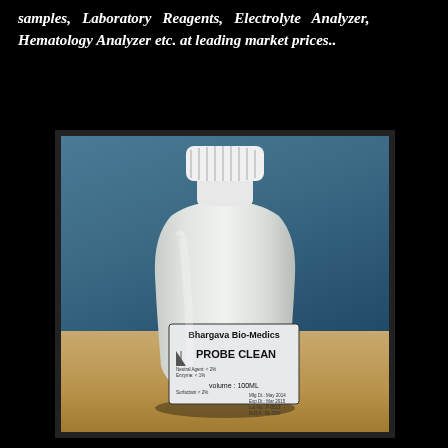samples, Laboratory Reagents, Electrolyte Analyzer, Hematology Analyzer etc. at leading market prices..
[Figure (photo): A white plastic bottle labeled 'Bhargava Bio-Medics PROBE CLEAN' with volume 100ML, sitting on a wooden table against a blue wall background.]